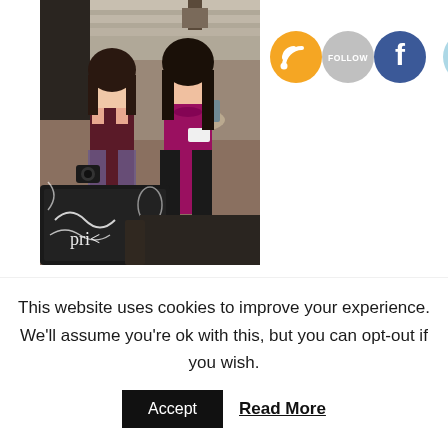[Figure (photo): Two women smiling and posing together at an outdoor restaurant/patio setting. One wears a dark top, the other wears a magenta/purple top with a name tag. There is a decorative chalkboard sign in the foreground.]
[Figure (logo): Social media icons: RSS feed (orange), FOLLOW (gray), Facebook (blue), Twitter (light blue) — four circular icons arranged in a row]
When you visit your family physician, do you know the right questions to ask? Most doctor visits last less
This website uses cookies to improve your experience. We'll assume you're ok with this, but you can opt-out if you wish.
Accept   Read More